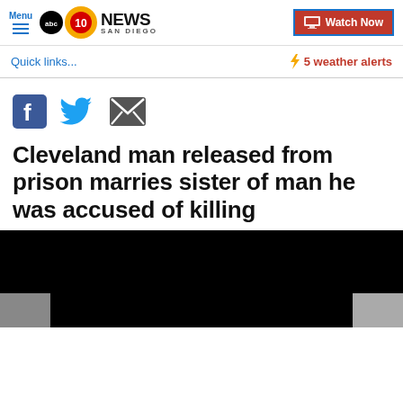Menu | 10 News San Diego | Watch Now
Quick links...  ⚡ 5 weather alerts
[Figure (other): Social sharing icons: Facebook, Twitter, Email]
Cleveland man released from prison marries sister of man he was accused of killing
[Figure (photo): Dark/black video thumbnail image area]